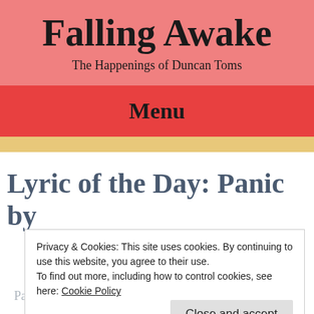Falling Awake
The Happenings of Duncan Toms
Menu
Lyric of the Day: Panic by
Privacy & Cookies: This site uses cookies. By continuing to use this website, you agree to their use.
To find out more, including how to control cookies, see here: Cookie Policy
Close and accept
Panic on the streets of Birmingham